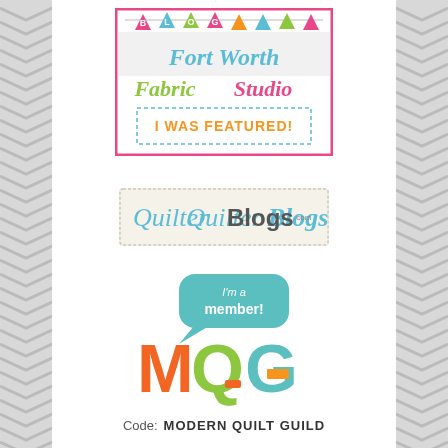[Figure (logo): Fort Worth Fabric Studio Blog - I Was Featured! badge with pink border, bunting flags, colorful text]
[Figure (logo): QuilterBlogs.com logo badge on cream/tan background]
[Figure (logo): Modern Quilt Guild member badge with teal speech bubble saying 'I'm a member!' and colorful MQG letters]
Code:  MODERN QUILT GUILD